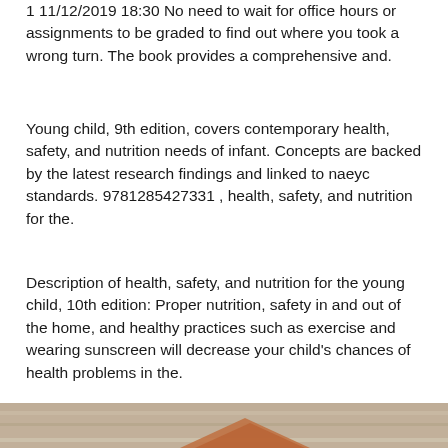1 11/12/2019 18:30 No need to wait for office hours or assignments to be graded to find out where you took a wrong turn. The book provides a comprehensive and.
Young child, 9th edition, covers contemporary health, safety, and nutrition needs of infant. Concepts are backed by the latest research findings and linked to naeyc standards. 9781285427331 , health, safety, and nutrition for the.
Description of health, safety, and nutrition for the young child, 10th edition: Proper nutrition, safety in and out of the home, and healthy practices such as exercise and wearing sunscreen will decrease your child's chances of health problems in the.
[Figure (photo): Partial view of a wooden surface with what appears to be books or objects on a wooden table background, shown at the bottom of the page.]